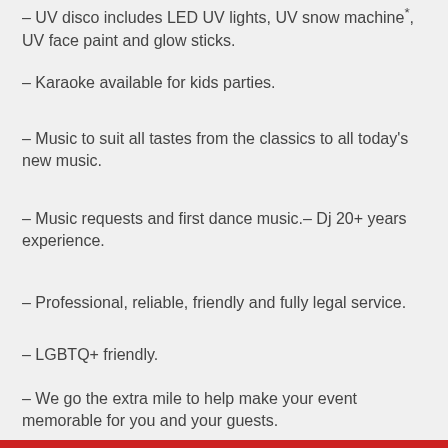- UV disco includes LED UV lights, UV snow machine*, UV face paint and glow sticks.
- Karaoke available for kids parties.
- Music to suit all tastes from the classics to all today's new music.
- Music requests and first dance music.- Dj 20+ years experience.
- Professional, reliable, friendly and fully legal service.
- LGBTQ+ friendly.
- We go the extra mile to help make your event memorable for you and your guests.